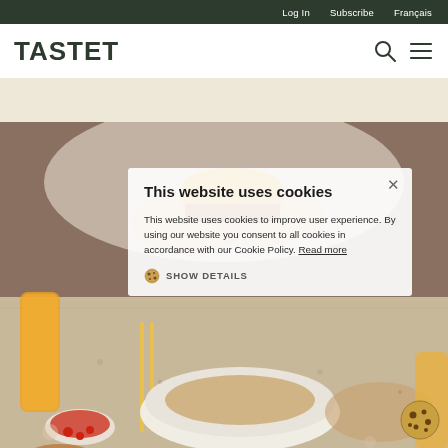Log In    Subscribe    Français
TASTET
[Figure (screenshot): Website screenshot of TASTET food blog showing navigation bar with Log In, Subscribe, Français links, the TASTET logo, search and menu icons, a beige band, a food photo background with hands holding a sandwich and a table with Asian food dishes. A cookie consent modal is overlaid with title 'This website uses cookies', body text about cookie policy, a Read more link, SHOW DETAILS button, and a cookie icon in the bottom right corner.]
This website uses cookies
This website uses cookies to improve user experience. By using our website you consent to all cookies in accordance with our Cookie Policy. Read more
SHOW DETAILS